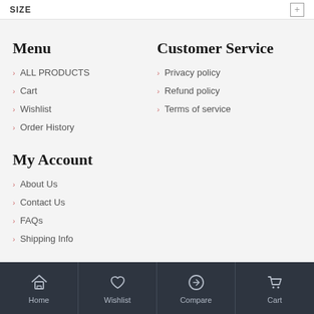SIZE
Menu
ALL PRODUCTS
Cart
Wishlist
Order History
Customer Service
Privacy policy
Refund policy
Terms of service
My Account
About Us
Contact Us
FAQs
Shipping Info
Home  Wishlist  Compare  Cart